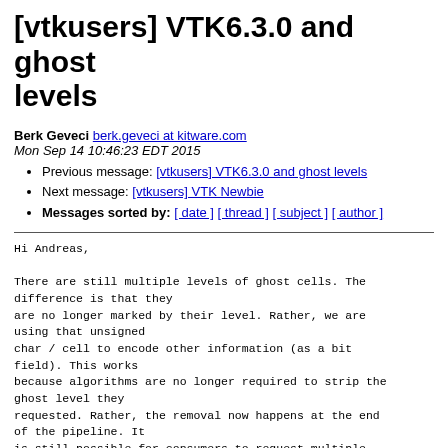[vtkusers] VTK6.3.0 and ghost levels
Berk Geveci berk.geveci at kitware.com
Mon Sep 14 10:46:23 EDT 2015
Previous message: [vtkusers] VTK6.3.0 and ghost levels
Next message: [vtkusers] VTK Newbie
Messages sorted by: [ date ] [ thread ] [ subject ] [ author ]
Hi Andreas,

There are still multiple levels of ghost cells. The difference is that they
are no longer marked by their level. Rather, we are using that unsigned
char / cell to encode other information (as a bit field). This works
because algorithms are no longer required to strip the ghost level they
requested. Rather, the removal now happens at the end of the pipeline. It
is still possible for consumers to request multiple ghost levels and for